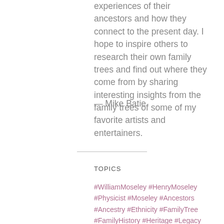experiences of their ancestors and how they connect to the present day. I hope to inspire others to research their own family trees and find out where they come from by sharing interesting insights from the family trees of some of my favorite artists and entertainers.
— Mike Batie
TOPICS
#WilliamMoseley #HenryMoseley #Physicist #Moseley #Ancestors #Ancestry #Ethnicity #FamilyTree #FamilyHistory #Heritage #Legacy